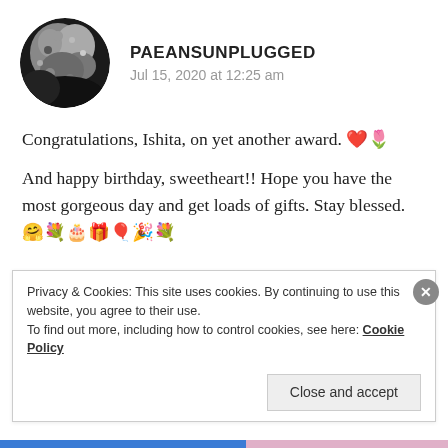[Figure (photo): Circular avatar showing a moon photo — dark and light grey tones with crater details]
PAEANSUNPLUGGED
Jul 15, 2020 at 12:25 am
Congratulations, Ishita, on yet another award. ❤️🌷
And happy birthday, sweetheart!! Hope you have the most gorgeous day and get loads of gifts. Stay blessed. 🤗💐🎂🎁🎈🎉💐
★ Liked by 1 person
Privacy & Cookies: This site uses cookies. By continuing to use this website, you agree to their use.
To find out more, including how to control cookies, see here: Cookie Policy
Close and accept